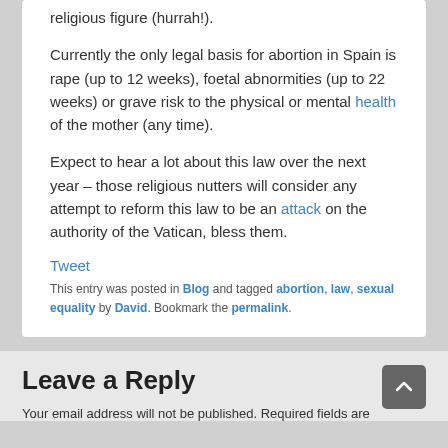religious figure (hurrah!).
Currently the only legal basis for abortion in Spain is rape (up to 12 weeks), foetal abnormities (up to 22 weeks) or grave risk to the physical or mental health of the mother (any time).
Expect to hear a lot about this law over the next year – those religious nutters will consider any attempt to reform this law to be an attack on the authority of the Vatican, bless them.
Tweet
This entry was posted in Blog and tagged abortion, law, sexual equality by David. Bookmark the permalink.
Leave a Reply
Your email address will not be published. Required fields are